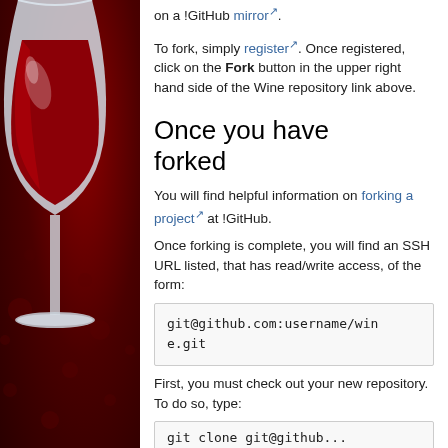[Figure (illustration): Wine glass logo — a white wine goblet with red wine inside, on a dark red/crimson decorative background with subtle circular patterns]
on a !GitHub mirror↗.
To fork, simply register↗. Once registered, click on the Fork button in the upper right hand side of the Wine repository link above.
Once you have forked
You will find helpful information on forking a project↗ at !GitHub.
Once forking is complete, you will find an SSH URL listed, that has read/write access, of the form:
git@github.com:username/wine.git
First, you must check out your new repository. To do so, type: